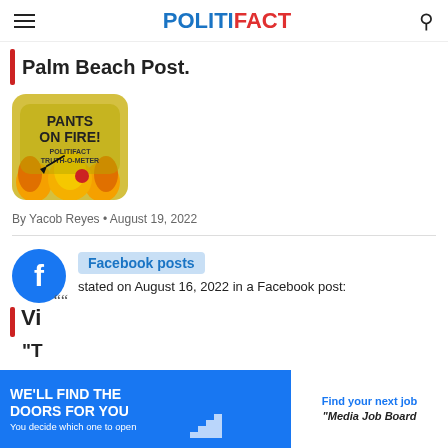POLITIFACT
Palm Beach Post.
[Figure (illustration): Pants on Fire! PolitiFact Truth-O-Meter rating image — yellow/orange flames with a needle gauge and text.]
By Yacob Reyes • August 19, 2022
Facebook posts stated on August 16, 2022 in a Facebook post:
[Figure (screenshot): Advertisement banner: WE'LL FIND THE DOORS FOR YOU / You decide which one to open — Media Job Board]